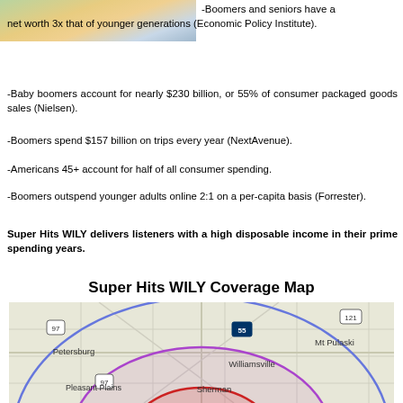[Figure (photo): Partial photo of people (boomers/seniors), cropped at top of page]
-Boomers and seniors have a net worth 3x that of younger generations (Economic Policy Institute).
-Baby boomers account for nearly $230 billion, or 55% of consumer packaged goods sales (Nielsen).
-Boomers spend $157 billion on trips every year (NextAvenue).
-Americans 45+ account for half of all consumer spending.
-Boomers outspend younger adults online 2:1 on a per-capita basis (Forrester).
Super Hits WILY delivers listeners with a high disposable income in their prime spending years.
Super Hits WILY Coverage Map
[Figure (map): Coverage map showing Super Hits WILY broadcast radius centered near Sherman/Williamsville IL, with concentric rings in red, pink/purple, and blue overlaid on a road map showing Petersburg, Mt Pulaski, Pleasant Plains, Williamsville, Sherman, and route markers 97, 55, 121]